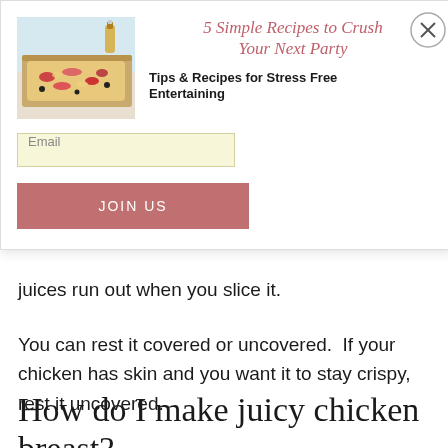[Figure (photo): Photo of flatbread pizza with toppings on a wooden board, with a small glass bottle of oil in background]
5 Simple Recipes to Crush Your Next Party
Tips & Recipes for Stress Free Entertaining
Email
JOIN US
juices run out when you slice it.
You can rest it covered or uncovered.  If your chicken has skin and you want it to stay crispy, rest it uncovered.
How do I make juicy chicken breast?